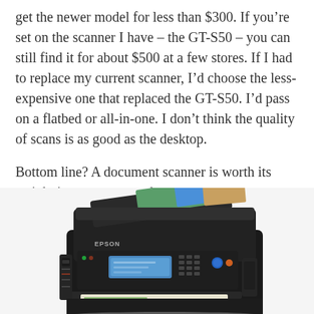get the newer model for less than $300. If you’re set on the scanner I have – the GT-S50 – you can still find it for about $500 at a few stores. If I had to replace my current scanner, I’d choose the less-expensive one that replaced the GT-S50. I’d pass on a flatbed or all-in-one. I don’t think the quality of scans is as good as the desktop.
Bottom line? A document scanner is worth its weight in paper storage boxes.
[Figure (photo): Photo of an Epson all-in-one inkjet printer/scanner with papers loaded in the automatic document feeder and output tray]